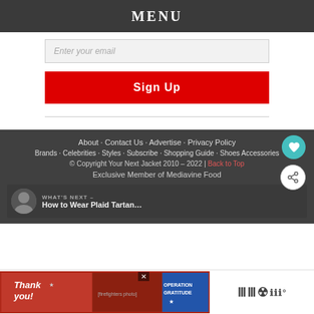MENU
Enter your email
Sign Up
About · Contact Us · Advertise · Privacy Policy
Brands · Celebrities · Styles · Subscribe · Shopping Guide · Shoes Accessories
© Copyright Your Next Jacket 2010 – 2022 | Back to Top
Exclusive Member of Mediavine Food
WHAT'S NEXT – How to Wear Plaid Tartan…
[Figure (photo): Operation Gratitude thank you banner advertisement with firefighters]